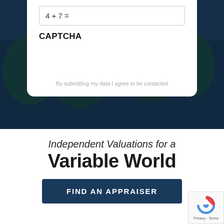CAPTCHA
By submitting my data I agree to be contacted
Independent Valuations for a
Variable World
FIND AN APPRAISER